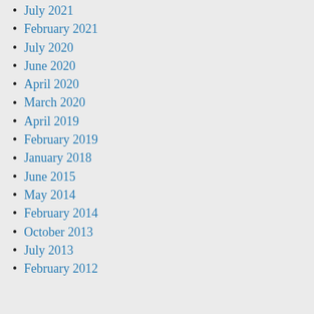July 2021
February 2021
July 2020
June 2020
April 2020
March 2020
April 2019
February 2019
January 2018
June 2015
May 2014
February 2014
October 2013
July 2013
February 2012